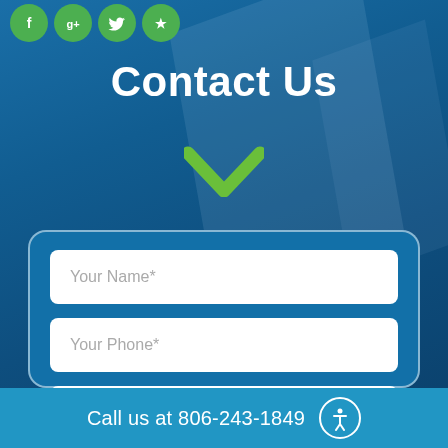[Figure (other): Social media icon buttons (Facebook, Google+, Twitter, Yelp) in green circles at top left]
Contact Us
[Figure (other): Green downward chevron/arrow icon]
Your Name*
Your Phone*
Your Email*
Your Message
Call us at 806-243-1849